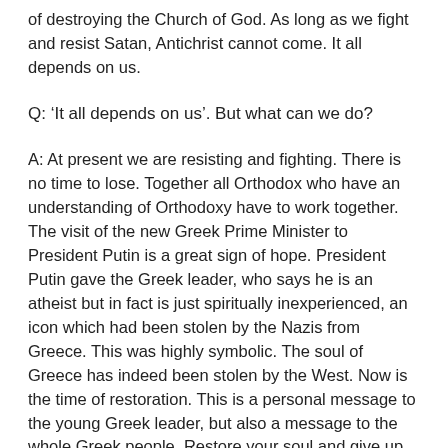of destroying the Church of God. As long as we fight and resist Satan, Antichrist cannot come. It all depends on us.
Q: ‘It all depends on us’. But what can we do?
A: At present we are resisting and fighting. There is no time to lose. Together all Orthodox who have an understanding of Orthodoxy have to work together. The visit of the new Greek Prime Minister to President Putin is a great sign of hope. President Putin gave the Greek leader, who says he is an atheist but in fact is just spiritually inexperienced, an icon which had been stolen by the Nazis from Greece. This was highly symbolic. The soul of Greece has indeed been stolen by the West. Now is the time of restoration. This is a personal message to the young Greek leader, but also a message to the whole Greek people. Restore your soul and give up on Nazism, both the old form and the new neocon form of the US/EU.